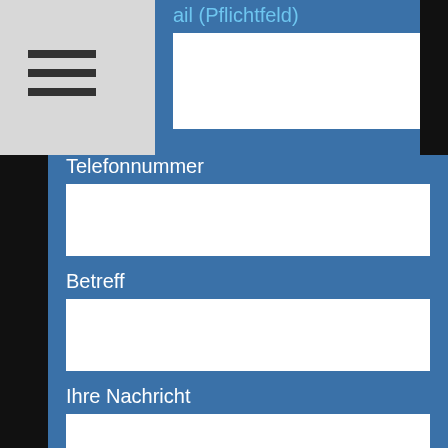ail (Pflichtfeld)
Telefonnummer
Betreff
Ihre Nachricht